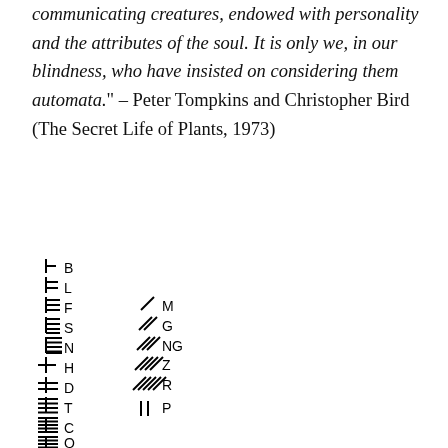communicating creatures, endowed with personality and the attributes of the soul. It is only we, in our blindness, who have insisted on considering them automata." – Peter Tompkins and Christopher Bird (The Secret Life of Plants, 1973)
[Figure (illustration): A table of runic or symbolic characters paired with Latin letters: B, L, F, S, N, H, D, T, C, Q on the left column with twig/branch symbols, and M, G, NG, Z, R, P on the right column with diagonal slash symbols.]